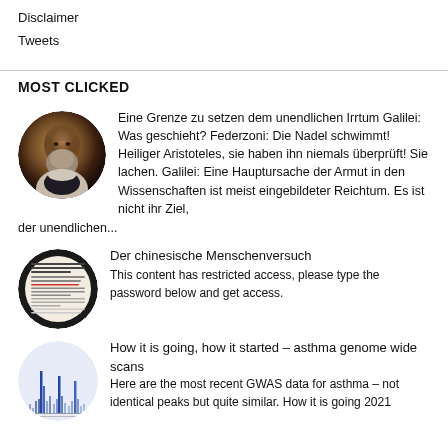Disclaimer
Tweets
MOST CLICKED
[Figure (photo): Circular portrait photo of Galileo Galilei, an elderly bearded man in historical clothing]
Eine Grenze zu setzen dem unendlichen Irrtum Galilei: Was geschieht? Federzoni: Die Nadel schwimmt! Heiliger Aristoteles, sie haben ihn niemals überprüft! Sie lachen. Galilei: Eine Hauptursache der Armut in den Wissenschaften ist meist eingebildeter Reichtum. Es ist nicht ihr Ziel, der unendlichen...
[Figure (photo): Circular thumbnail of an article with Chinese text, dark border]
Der chinesische Menschenversuch
This content has restricted access, please type the password below and get access.
[Figure (other): Circular thumbnail showing a Manhattan plot / GWAS chart with peaks]
How it is going, how it started – asthma genome wide scans
Here are the most recent GWAS data for asthma – not identical peaks but quite similar. How it is going 2021